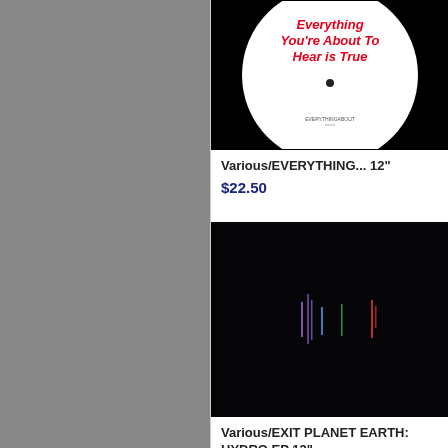[Figure (photo): Album cover: white vinyl record disc on black background with red text 'Everything You're About To Hear Is True']
Various/EVERYTHING... 12"
$22.50
[Figure (photo): Album cover: mostly black with small coloured vertical lines scattered across]
Various/EXIT PLANET EARTH: HYDRO EP 12"
$18.00
Vario CAR
$18.0
Vario KYP
$22.5